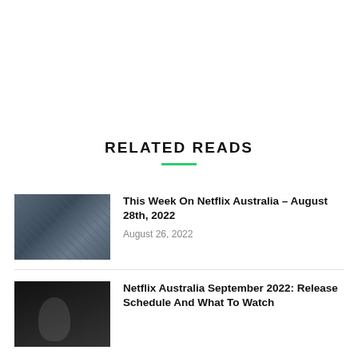RELATED READS
This Week On Netflix Australia – August 28th, 2022
August 26, 2022
Netflix Australia September 2022: Release Schedule And What To Watch